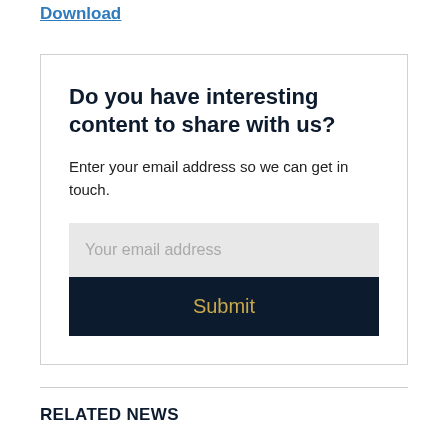Download
Do you have interesting content to share with us?
Enter your email address so we can get in touch.
[Figure (other): Email input field with placeholder text 'Your email address' and a dark navy Submit button with gold text]
RELATED NEWS